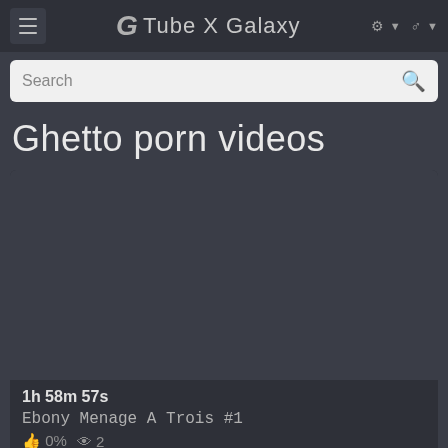G Tube X Galaxy
Search
Ghetto porn videos
[Figure (screenshot): Video thumbnail placeholder — dark grey rectangle]
1h 58m 57s
Ebony Menage A Trois #1
0%  2